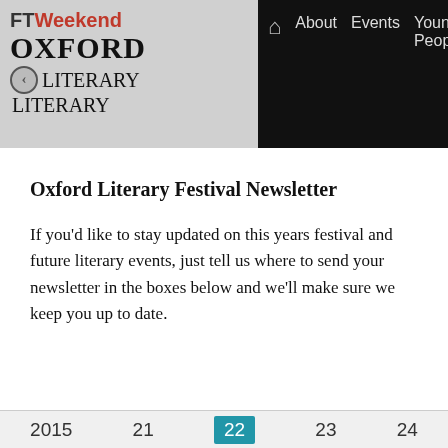FT Weekend Oxford Literary Festival — About | Events | Young People | Au...
Oxford Literary Festival Newsletter
If you'd like to stay updated on this years festival and future literary events, just tell us where to send your newsletter in the boxes below and we'll make sure we keep you up to date.
2015  21  22  23  24